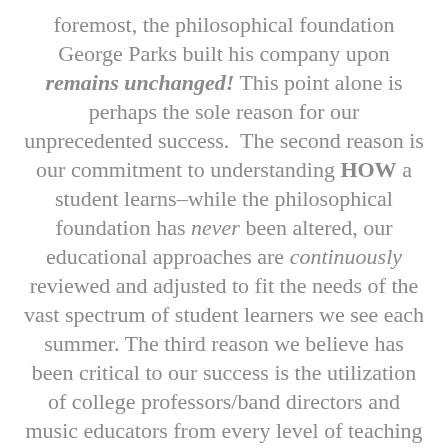foremost, the philosophical foundation George Parks built his company upon remains unchanged! This point alone is perhaps the sole reason for our unprecedented success. The second reason is our commitment to understanding HOW a student learns–while the philosophical foundation has never been altered, our educational approaches are continuously reviewed and adjusted to fit the needs of the vast spectrum of student learners we see each summer. The third reason we believe has been critical to our success is the utilization of college professors/band directors and music educators from every level of teaching as our clinicians. Seasoned professionals